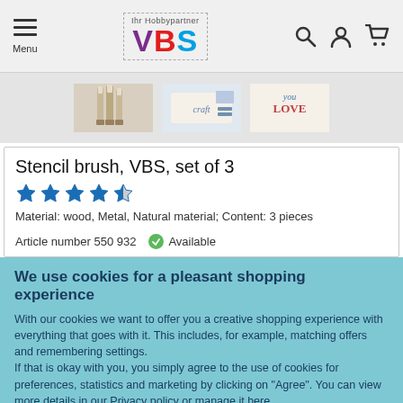[Figure (screenshot): VBS Hobbypartner website header with hamburger menu icon, VBS logo, search icon, user icon, and cart icon]
[Figure (photo): Three thumbnail images of stencil brush product: brushes standing upright, craft usage scene, and calligraphy love text]
Stencil brush, VBS, set of 3
[Figure (other): Star rating: 4.5 out of 5 stars]
Material: wood, Metal, Natural material; Content: 3 pieces
Article number 550 932   ✓ Available
We use cookies for a pleasant shopping experience
With our cookies we want to offer you a creative shopping experience with everything that goes with it. This includes, for example, matching offers and remembering settings.
If that is okay with you, you simply agree to the use of cookies for preferences, statistics and marketing by clicking on "Agree". You can view more details in our Privacy policy or manage it here.
Further options
Agree